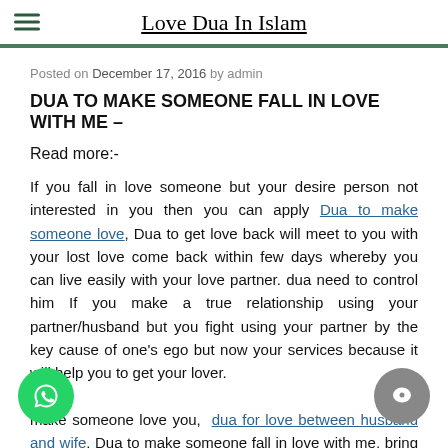Love Dua In Islam
Posted on December 17, 2016 by admin
DUA TO MAKE SOMEONE FALL IN LOVE WITH ME –
Read more:-
If you fall in love someone but your desire person not interested in you then you can apply Dua to make someone love, Dua to get love back will meet to you with your lost love come back within few days whereby you can live easily with your love partner. dua need to control him If you make a true relationship using your partner/husband but you fight using your partner by the key cause of one's ego but now your services because it will help you to get your lover.
make someone love you, dua for love between husband and wife, Dua to make someone fall in love with me, bring back his lost love back using powerful Islamic dua and quranic ayat